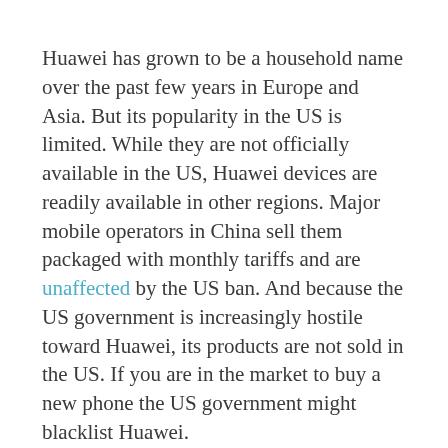Huawei has grown to be a household name over the past few years in Europe and Asia. But its popularity in the US is limited. While they are not officially available in the US, Huawei devices are readily available in other regions. Major mobile operators in China sell them packaged with monthly tariffs and are unaffected by the US ban. And because the US government is increasingly hostile toward Huawei, its products are not sold in the US. If you are in the market to buy a new phone the US government might blacklist Huawei.
Ascend P2 will be available for purchase in the second quarter 2013. It is expected to retail at 399 euros in Europe. Orange, the French carrier, was also announced as a partner by the company. According to the company,